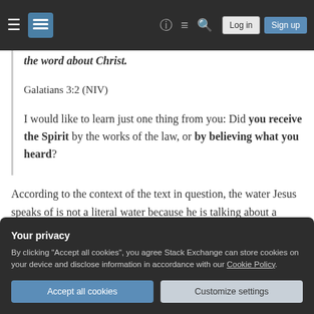Stack Exchange navigation bar with hamburger menu, logo, help, chat, search icons, Log in and Sign up buttons
the word about Christ.
Galatians 3:2 (NIV)
I would like to learn just one thing from you: Did you receive the Spirit by the works of the law, or by believing what you heard?
According to the context of the text in question, the water Jesus speaks of is not a literal water because he is talking about a spiritual birth.
Your privacy
By clicking "Accept all cookies", you agree Stack Exchange can store cookies on your device and disclose information in accordance with our Cookie Policy.
Accept all cookies | Customize settings